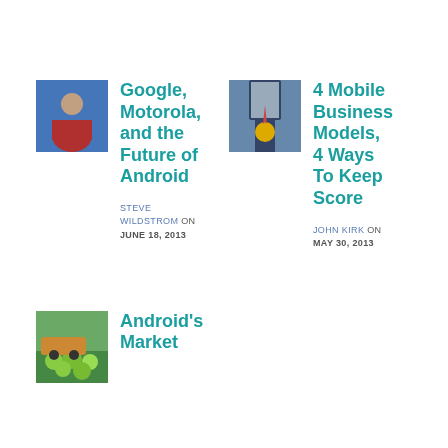[Figure (photo): Thumbnail photo of a man speaking]
Google, Motorola, and the Future of Android
STEVE WILDSTROM ON JUNE 18, 2013
[Figure (photo): Thumbnail photo of a person in suit with medal]
4 Mobile Business Models, 4 Ways To Keep Score
JOHN KIRK ON MAY 30, 2013
[Figure (photo): Thumbnail photo of green produce/market]
Android's Market